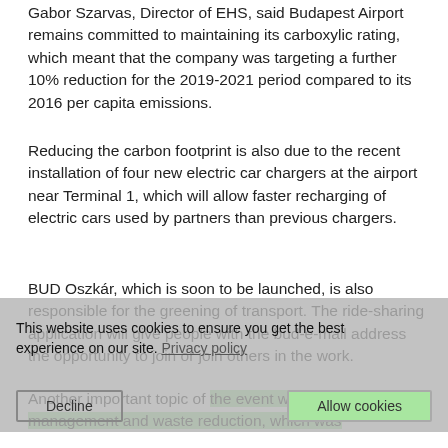Gabor Szarvas, Director of EHS, said Budapest Airport remains committed to maintaining its carboxylic rating, which meant that the company was targeting a further 10% reduction for the 2019-2021 period compared to its 2016 per capita emissions.
Reducing the carbon footprint is also due to the recent installation of four new electric car chargers at the airport near Terminal 1, which will allow faster recharging of electric cars used by partners than previous chargers.
BUD Oszkár, which is soon to be launched, is also responsible for the greening of transport. The ride-sharing application will give people with the bud-e-mail address the opportunity to join or join others in the work.
Another important topic of the event was waste management and waste reduction, which was